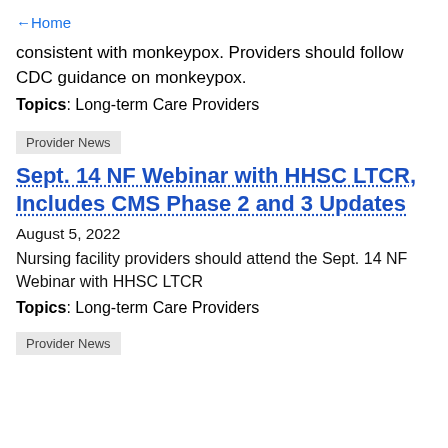← Home
consistent with monkeypox. Providers should follow CDC guidance on monkeypox.
Topics: Long-term Care Providers
Provider News
Sept. 14 NF Webinar with HHSC LTCR, Includes CMS Phase 2 and 3 Updates
August 5, 2022
Nursing facility providers should attend the Sept. 14 NF Webinar with HHSC LTCR
Topics: Long-term Care Providers
Provider News